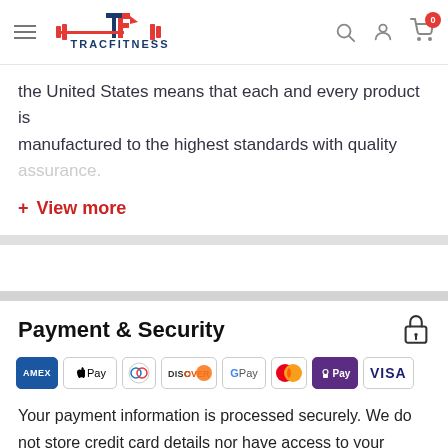TracFitness website header with navigation menu, logo, search, account, and cart (0 items)
the United States means that each and every product is manufactured to the highest standards with quality
+ View more
Payment & Security
[Figure (other): Payment method icons: AMEX, Apple Pay, Diners Club, Discover, Google Pay, Mastercard, Shop Pay, Visa]
Your payment information is processed securely. We do not store credit card details nor have access to your